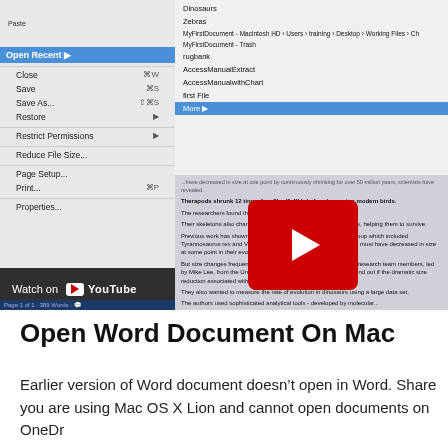[Figure (screenshot): Screenshot of Microsoft Word for Mac 2016 tutorial YouTube video showing File menu open with Open Recent submenu, list of recent documents including Dinosaurs, Zebras, MyFirstDocument paths, rugbank, AccessManualExtract, AccessManualWithChart, First File, and a Word document with text about dinosaurs visible alongside a YouTube player overlay with red play button and Watch on YouTube bar at bottom.]
Open Word Document On Mac
Earlier version of Word document doesn’t open in Word. Share you are using Mac OS X Lion and cannot open documents on OneDr